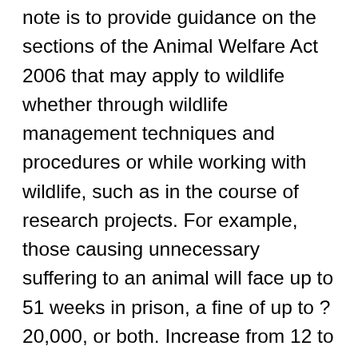note is to provide guidance on the sections of the Animal Welfare Act 2006 that may apply to wildlife whether through wildlife management techniques and procedures or while working with wildlife, such as in the course of research projects. For example, those causing unnecessary suffering to an animal will face up to 51 weeks in prison, a fine of up to ? 20,000, or both. Increase from 12 to 16 the minimum age at which a child may buy an animal, and prohibit the giving of pets as prizes to unaccompanied children under the age of 16. The Animal Welfare Act (in force April 2007) largely repealed and replaced the 1911 Protection of Animals Act, strengthened and updated the provisions of that Act, and consolidated and